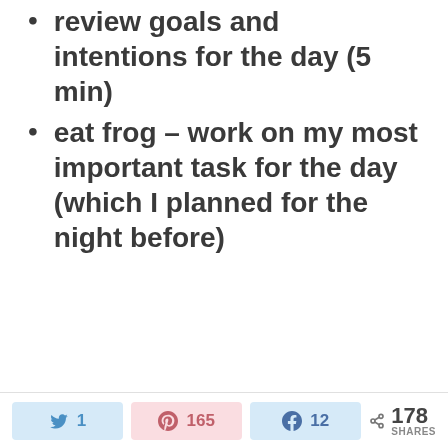review goals and intentions for the day (5 min)
eat frog – work on my most important task for the day (which I planned for the night before)
1  165  12  178 SHARES